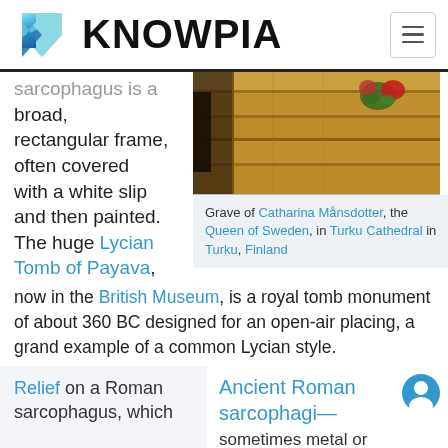KNOWPIA
sarcophagus is a broad, rectangular frame, often covered with a white slip and then painted. The huge Lycian Tomb of Payava, now in the British Museum, is a royal tomb monument of about 360 BC designed for an open-air placing, a grand example of a common Lycian style.
[Figure (photo): Photograph of a grave with wooden sarcophagus and flowers on top, inside Turku Cathedral]
Grave of Catharina Månsdotter, the Queen of Sweden, in Turku Cathedral in Turku, Finland
Relief on a Roman sarcophagus, which
Ancient Roman sarcophagi—
sometimes metal or plaster as well as